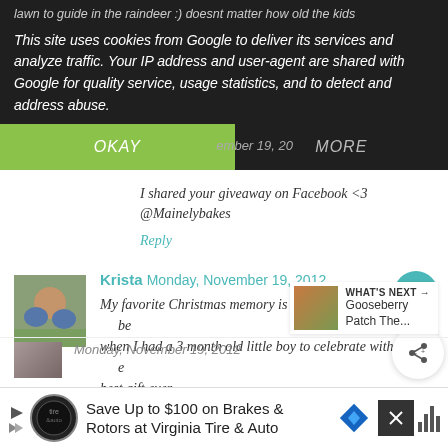lawn to guide in the raindeer :) doesnt matter how old the kids
This site uses cookies from Google to deliver its services and analyze traffic. Your IP address and user-agent are shared with Google for quality service, usage statistics, and to detect and address abuse.
OKAY
MORE
I shared your giveaway on Facebook <3 @Mainelybakes
Reply
Krista Monday, November 19, 2012
My favorite Christmas memory is Christmas 2004. That was the year when I had a 3 month old little boy to celebrate with, for him it was the best gift ever.
Reply
WHAT'S NEXT → Gooseberry Patch The...
Save Up to $100 on Brakes & Rotors at Virginia Tire & Auto